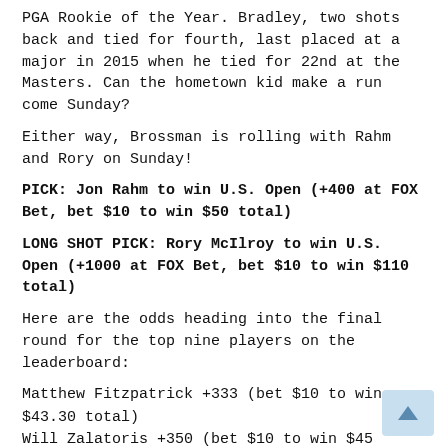PGA Rookie of the Year. Bradley, two shots back and tied for fourth, last placed at a major in 2015 when he tied for 22nd at the Masters. Can the hometown kid make a run come Sunday?
Either way, Brossman is rolling with Rahm and Rory on Sunday!
PICK: Jon Rahm to win U.S. Open (+400 at FOX Bet, bet $10 to win $50 total)
LONG SHOT PICK: Rory McIlroy to win U.S. Open (+1000 at FOX Bet, bet $10 to win $110 total)
Here are the odds heading into the final round for the top nine players on the leaderboard:
Matthew Fitzpatrick +333 (bet $10 to win $43.30 total)
Will Zalatoris +350 (bet $10 to win $45 total)
Jon Rahm +400 (bet $10 to win $50 total)
Scottie Scheffler +600 (bet $10 to win $70 total)